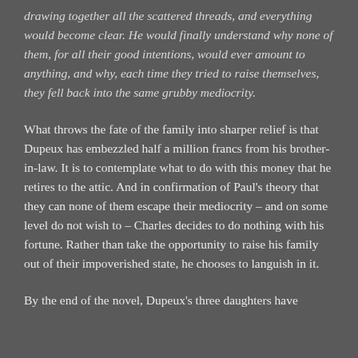drawing together all the scattered threads, and everything would become clear. He would finally understand why none of them, for all their good intentions, would ever amount to anything, and why, each time they tried to raise themselves, they fell back into the same grubby mediocrity.
What throws the fate of the family into sharper relief is that Dupeux has embezzled half a million francs from his brother-in-law. It is to contemplate what to do with this money that he retires to the attic. And in confirmation of Paul's theory that they can none of them escape their mediocrity – and on some level do not wish to – Charles decides to do nothing with his fortune. Rather than take the opportunity to raise his family out of their impoverished state, he chooses to languish in it.
By the end of the novel, Dupeux's three daughters have